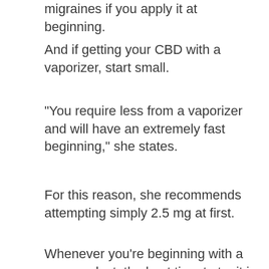migraines if you apply it at beginning.
And if getting your CBD with a vaporizer, start small.
“You require less from a vaporizer and will have an extremely fast beginning,” she states.
For this reason, she recommends attempting simply 2.5 mg at first.
Whenever you’re beginning with a new product, the best time to try it is right before bed simply in case it makes you sleepy, states Capano. Even if it does not, you’re basically guaranteed a good night’s sleep.